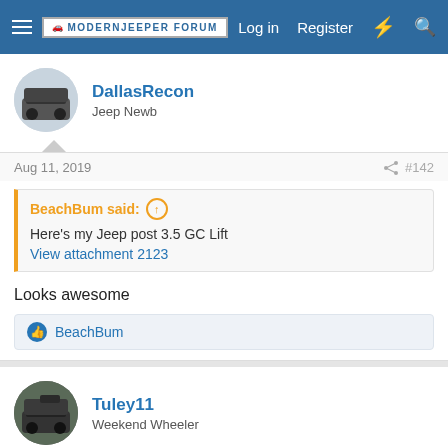MODERNJEEPER FORUM  Log in  Register
DallasRecon
Jeep Newb
Aug 11, 2019  #142
BeachBum said:
Here's my Jeep post 3.5 GC Lift
View attachment 2123
Looks awesome
BeachBum
Tuley11
Weekend Wheeler
Aug 11, 2019  #143